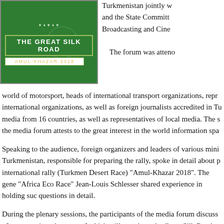[Figure (illustration): Green background logo/poster for 'The Great Silk Road - Amul-Khazar-2018' rally event]
Turkmenistan jointly w and the State Committ Broadcasting and Cine
The forum was atteno world of motorsport, heads of international transport organizations, repr international organizations, as well as foreign journalists accredited in Tu media from 16 countries, as well as representatives of local media. The s the media forum attests to the great interest in the world information spa
Speaking to the audience, foreign organizers and leaders of various mini Turkmenistan, responsible for preparing the rally, spoke in detail about p international rally (Turkmen Desert Race) "Amul-Khazar 2018". The gene "Africa Eco Race" Jean-Louis Schlesser shared experience in holding suc questions in detail.
During the plenary sessions, the participants of the media forum discuss of motor racing, the route of which will run along the Great Silk Road, cros covering many localities. Also, the participants of the forum were shown successes of Turkmen sports and the policy of the head of state in this fi
Turkmenistan is committed to the it represents the news represent to b